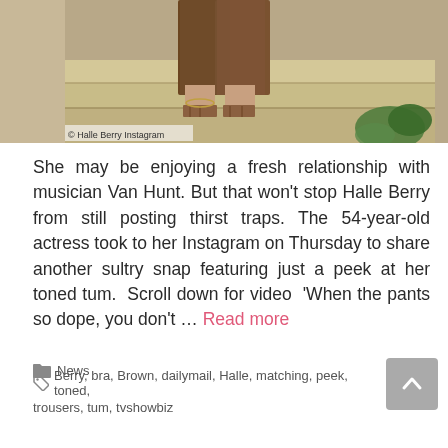[Figure (photo): Cropped photo of a person's legs wearing brown wide-leg trousers and strappy sandals, standing on stone steps with a plant visible at right. Caption reads: © Halle Berry Instagram]
© Halle Berry Instagram
She may be enjoying a fresh relationship with musician Van Hunt. But that won't stop Halle Berry from still posting thirst traps. The 54-year-old actress took to her Instagram on Thursday to share another sultry snap featuring just a peek at her toned tum.  Scroll down for video  'When the pants so dope, you don't … Read more
News
Berry, bra, Brown, dailymail, Halle, matching, peek, toned, trousers, tum, tvshowbiz